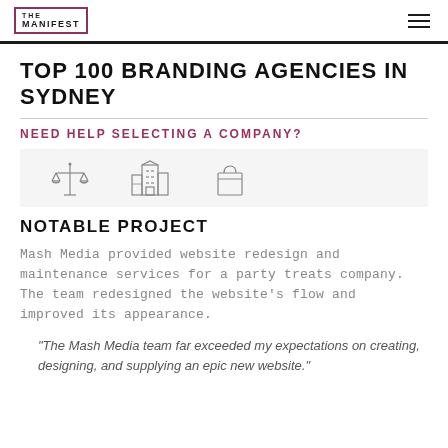THE MANIFEST
TOP 100 BRANDING AGENCIES IN SYDNEY
NEED HELP SELECTING A COMPANY?
[Figure (illustration): Three outline icons: scales of justice, city buildings, and a shopping bag]
NOTABLE PROJECT
Mash Media provided website redesign and maintenance services for a party treats company. The team redesigned the website's flow and improved its appearance.
"The Mash Media team far exceeded my expectations on creating, designing, and supplying an epic new website."